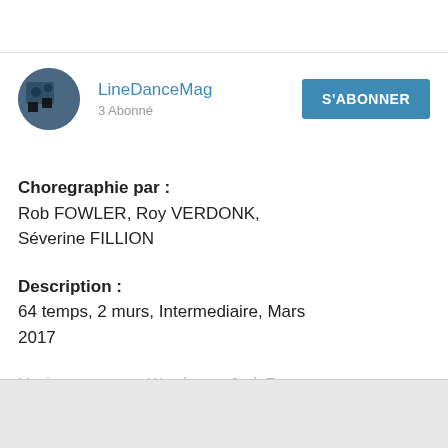[Figure (logo): Circular avatar image for LineDanceMag channel with dark blue background]
LineDanceMag
3 Abonné
S'ABONNER
Choregraphie par :    Rob FOWLER, Roy VERDONK, Séverine FILLION
Description :          64 temps, 2 murs, Intermediaire, Mars 2017
Musique :              Wonder par Josh Turner
EN VOIR PLUS